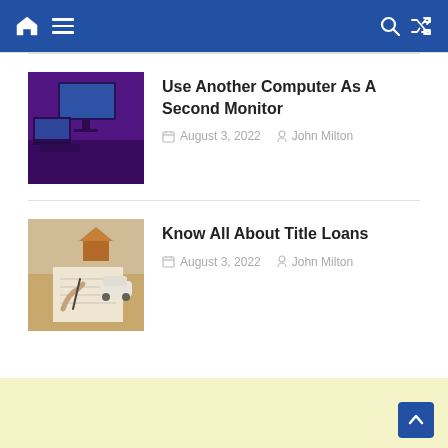Navigation bar with home, menu, search, and shuffle icons
Use Another Computer As A Second Monitor
August 3, 2022   John Milton
Know All About Title Loans
August 3, 2022   John Milton